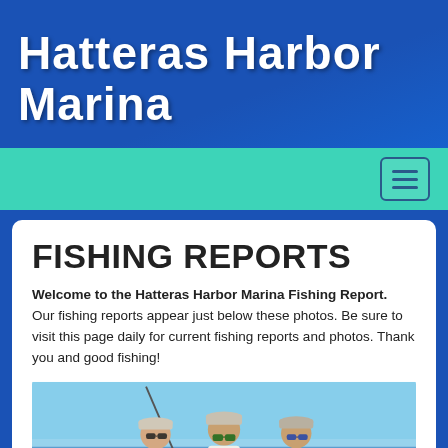Hatteras Harbor Marina
FISHING REPORTS
Welcome to the Hatteras Harbor Marina Fishing Report. Our fishing reports appear just below these photos. Be sure to visit this page daily for current fishing reports and photos. Thank you and good fishing!
[Figure (photo): Three men standing on a boat on open water, each wearing caps and sunglasses, with a fishing rod visible. Blue sky and water in the background.]